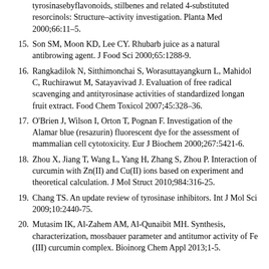tyrosinasebyflavonoids, stilbenes and related 4-substituted resorcinols: Structure–activity investigation. Planta Med 2000;66:11–5.
15. Son SM, Moon KD, Lee CY. Rhubarb juice as a natural antibrowing agent. J Food Sci 2000;65:1288-9.
16. Rangkadilok N, Sitthimonchai S, Worasuttayangkurn L, Mahidol C, Ruchirawut M, Satayavivad J. Evaluation of free radical scavenging and antityrosinase activities of standardized longan fruit extract. Food Chem Toxicol 2007;45:328–36.
17. O'Brien J, Wilson I, Orton T, Pognan F. Investigation of the Alamar blue (resazurin) fluorescent dye for the assessment of mammalian cell cytotoxicity. Eur J Biochem 2000;267:5421-6.
18. Zhou X, Jiang T, Wang L, Yang H, Zhang S, Zhou P. Interaction of curcumin with Zn(II) and Cu(II) ions based on experiment and theoretical calculation. J Mol Struct 2010;984:316-25.
19. Chang TS. An update review of tyrosinase inhibitors. Int J Mol Sci 2009;10:2440-75.
20. Mutasim IK, Al-Zahem AM, Al-Qunaibit MH. Synthesis, characterization, mossbauer parameter and antitumor activity of Fe (III) curcumin complex. Bioinorg Chem Appl 2013;1-5.